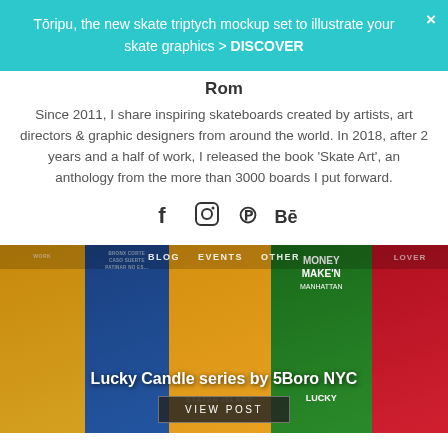Tōripu, the new skate triptych mockup set to illustrate your skate graphics > DISCOVER
Rom
Since 2011, I share inspiring skateboards created by artists, art directors & graphic designers from around the world. In 2018, after 2 years and a half of work, I released the book 'Skate Art', an anthology from the more than 3000 boards I put forward.
[Figure (infographic): Social media icons row: Facebook, Instagram, Pinterest, Behance]
[Figure (photo): Grid of colorful skateboard decks from Lucky Candle series by 5Boro NYC. Overlaid text reads 'Lucky Candle series by 5Boro NYC' and a 'VIEW POST' button. Nav items: BLOG, EVENTS, OTHER.]